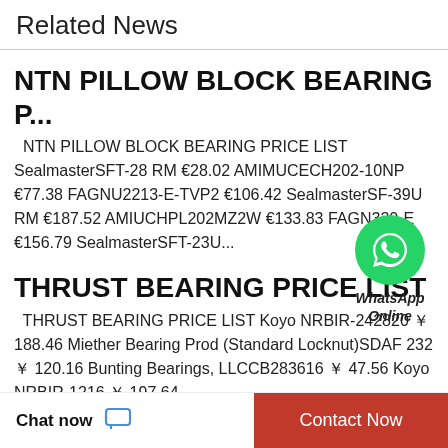Related News
NTN PILLOW BLOCK BEARING P...
NTN PILLOW BLOCK BEARING PRICE LIST SealmasterSFT-28 RM €28.02 AMIMUCECH202-10NP €77.38 FAGNU2213-E-TVP2 €106.42 SealmasterSF-39U RM €187.52 AMIUCHPL202MZ2W €133.83 FAGN320-E €156.79 SealmasterSFT-23U...
[Figure (illustration): WhatsApp Online green chat bubble icon with label 'WhatsApp Online']
THRUST BEARING PRICE LIST
THRUST BEARING PRICE LIST Koyo NRBIR-242820 ￥ 188.46 Miether Bearing Prod (Standard Locknut)SDAF 232 ￥ 120.16 Bunting Bearings, LLCCB283616 ￥ 47.56 Koyo NRBIR-1216 ￥ 197.64
Chat now  Contact Now